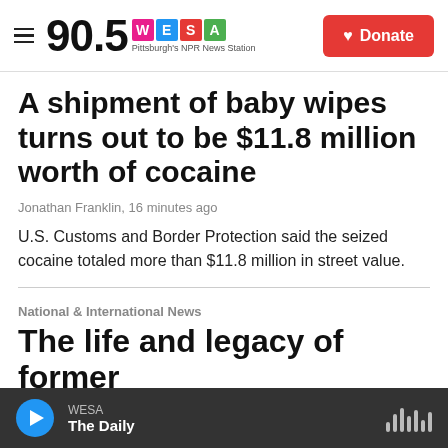90.5 WESA — Pittsburgh's NPR News Station
A shipment of baby wipes turns out to be $11.8 million worth of cocaine
Jonathan Franklin, 16 minutes ago
U.S. Customs and Border Protection said the seized cocaine totaled more than $11.8 million in street value.
National & International News
The life and legacy of former
WESA — The Daily